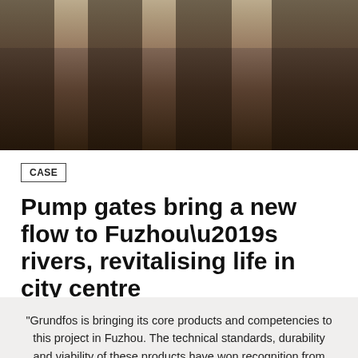[Figure (photo): Industrial photo showing dark cylindrical pump gate equipment/machinery in a facility, with muted sepia/brown tones]
CASE
Pump gates bring a new flow to Fuzhou’s rivers, revitalising life in city centre
“Grundfos is bringing its core products and competencies to this project in Fuzhou. The technical standards, durability and viability of these products have won recognition from both our company and